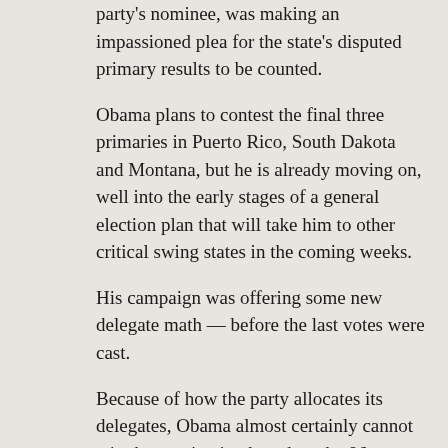party's nominee, was making an impassioned plea for the state's disputed primary results to be counted.
Obama plans to contest the final three primaries in Puerto Rico, South Dakota and Montana, but he is already moving on, well into the early stages of a general election plan that will take him to other critical swing states in the coming weeks.
His campaign was offering some new delegate math — before the last votes were cast.
Because of how the party allocates its delegates, Obama almost certainly cannot win the nomination based on the 86 pledged delegates yet to be claimed in the final three contests. But his advisers project that he needs just 25 to 28 more